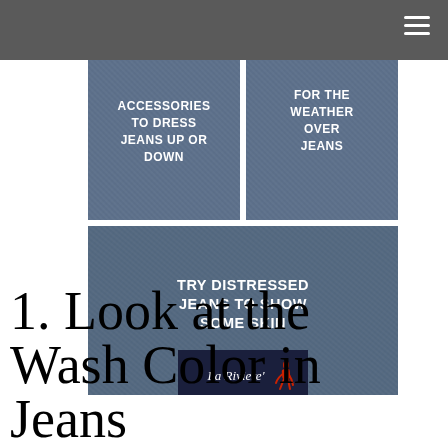[Figure (infographic): Denim-textured infographic with three panels: top-left 'ACCESSORIES TO DRESS JEANS UP OR DOWN', top-right 'FOR THE WEATHER OVER JEANS', bottom full-width 'TRY DISTRESSED JEANS TO SHOW SOME SKIN', with La Riviere' logo at bottom center]
1. Look at the Wash Color in Jeans